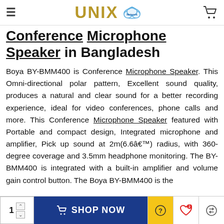UNIX Network
Conference Microphone Speaker in Bangladesh
Boya BY-BMM400 is Conference Microphone Speaker. This Omni-directional polar pattern, Excellent sound quality, produces a natural and clear sound for a better recording experience, ideal for video conferences, phone calls and more. This Conference Microphone Speaker featured with Portable and compact design, Integrated microphone and amplifier, Pick up sound at 2m(6.6â€™) radius, with 360-degree coverage and 3.5mm headphone monitoring. The BY-BMM400 is integrated with a built-in amplifier and volume gain control button. The Boya BY-BMM400 is the